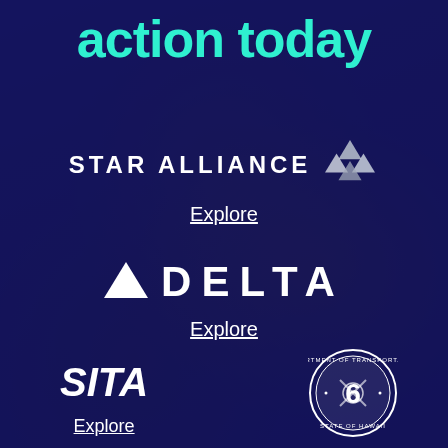action today
[Figure (logo): Star Alliance logo with text STAR ALLIANCE and triangular arrow star symbol]
Explore
[Figure (logo): Delta Air Lines logo with triangle and DELTA text in wide letter-spacing]
Explore
[Figure (logo): SITA logo in bold italic white text]
Explore
[Figure (logo): Department of Transportation State of Hawaii circular seal logo]
Explore